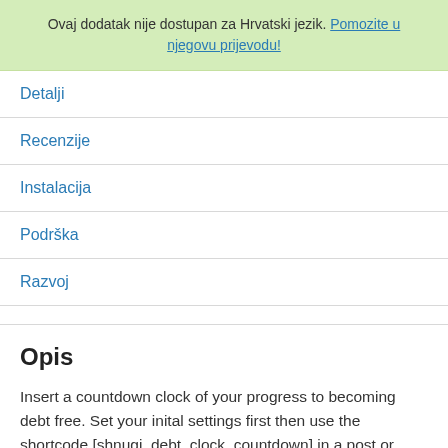Ovaj dodatak nije dostupan za Hrvatski jezik. Pomozite u njegovu prijevodu!
Detalji
Recenzije
Instalacija
Podrška
Razvoj
Opis
Insert a countdown clock of your progress to becoming debt free. Set your inital settings first then use the shortcode [shnugi_debt_clock_countdown] in a post or page and the short code will be replaced